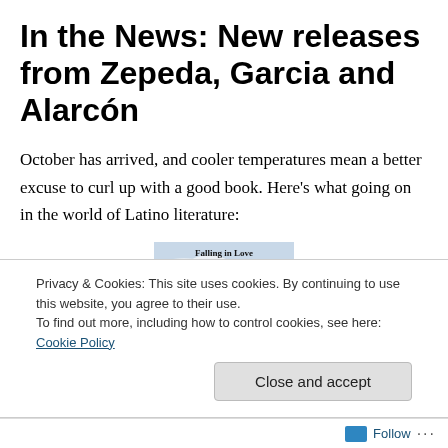In the News: New releases from Zepeda, Garcia and Alarcón
October has arrived, and cooler temperatures mean a better excuse to curl up with a good book. Here's what going on in the world of Latino literature:
[Figure (photo): Book cover image showing 'Falling in Love' with an illustration of a birdcage against a sky background]
Privacy & Cookies: This site uses cookies. By continuing to use this website, you agree to their use.
To find out more, including how to control cookies, see here: Cookie Policy
Follow ···